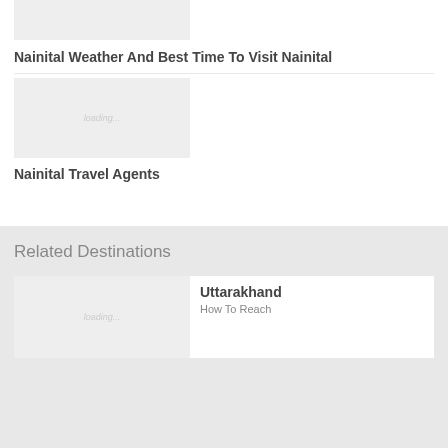[Figure (photo): Image placeholder for Nainital Weather article]
Nainital Weather And Best Time To Visit Nainital
[Figure (photo): Image placeholder loading for Nainital Travel Agents]
Nainital Travel Agents
Related Destinations
[Figure (photo): Image placeholder loading for Uttarakhand]
Uttarakhand
How To Reach